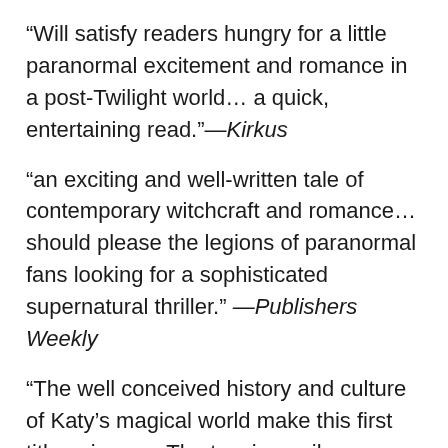“Will satisfy readers hungry for a little paranormal excitement and romance in a post-Twilight world… a quick, entertaining read.”—Kirkus
“an exciting and well-written tale of contemporary witchcraft and romance…should please the legions of paranormal fans looking for a sophisticated supernatural thriller.” —Publishers Weekly
“The well conceived history and culture of Katy’s magical world make this first title unique … The teasing epilogue promises a sequel, and readers will be ready for it.” —Booklist
“A fast-paced, electrifying read! My heart throbbed for the tender romance trapped in a world of boarding-school backstabbing. With a courageous yet achingly human